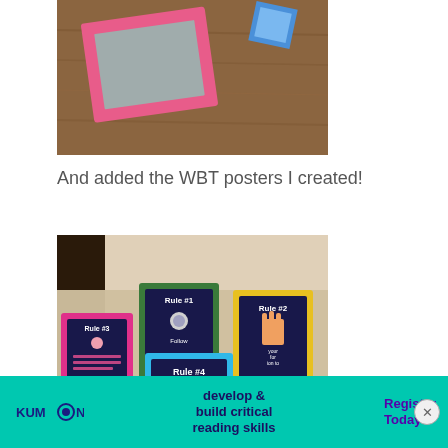[Figure (photo): Photo showing pink-framed mirror and blue item on a wooden surface]
And added the WBT posters I created!
[Figure (photo): Photo showing WBT (Whole Brain Teaching) classroom rule posters numbered Rule #1, Rule #2, Rule #3, Rule #4 in colorful frames on carpet floor]
[Figure (photo): Kumon advertisement banner: KUMON logo, 'develop & build critical reading skills', 'Register Today →', close button]